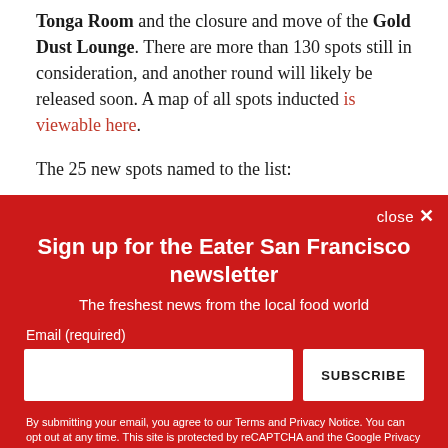Tonga Room and the closure and move of the Gold Dust Lounge. There are more than 130 spots still in consideration, and another round will likely be released soon. A map of all spots inducted is viewable here.
The 25 new spots named to the list:
Sign up for the Eater San Francisco newsletter
The freshest news from the local food world
Email (required)
By submitting your email, you agree to our Terms and Privacy Notice. You can opt out at any time. This site is protected by reCAPTCHA and the Google Privacy Policy and Terms of Service apply.